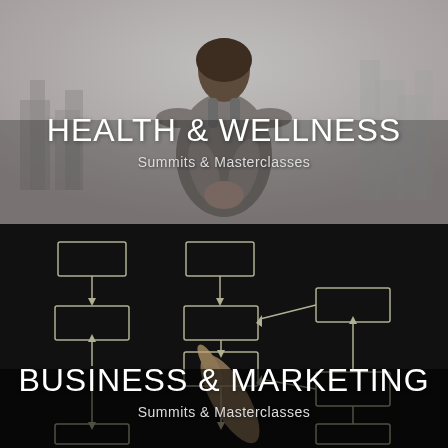[Figure (photo): Top panel: A woman seen from behind in a grey tank top doing a yoga prayer pose with hands clasped behind her back, against a blurred city skyline background. Overlay text reads HEALTH & WELLNESS Summits & Masterclasses.]
[Figure (photo): Bottom panel: Dark background with chalk-drawn flowchart diagram boxes and arrows, a hand pointing at one of the boxes. Overlay text reads BUSINESS & MARKETING Summits & Masterclasses.]